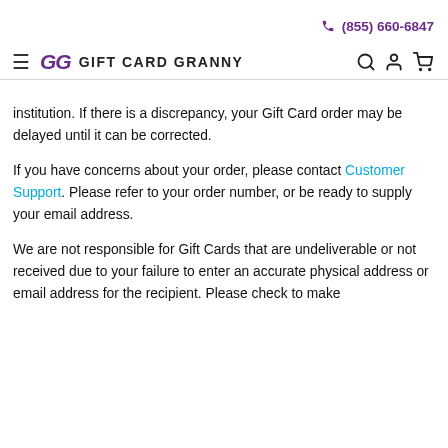(855) 660-6847
GG GIFT CARD GRANNY
institution. If there is a discrepancy, your Gift Card order may be delayed until it can be corrected.
If you have concerns about your order, please contact Customer Support. Please refer to your order number, or be ready to supply your email address.
We are not responsible for Gift Cards that are undeliverable or not received due to your failure to enter an accurate physical address or email address for the recipient. Please check to make